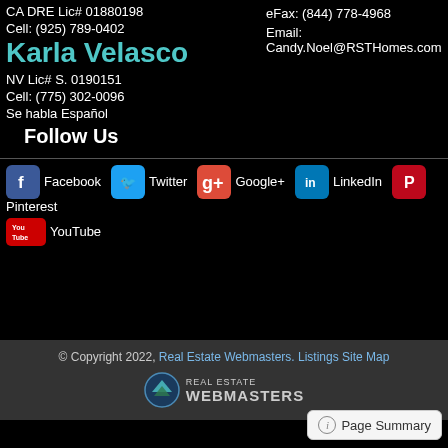CA DRE Lic# 01880198
eFax: (844) 778-4968
Cell: (925) 789-0402
Email: Candy.Noel@RSTHomes.com
Karla Velasco
NV Lic# S. 0190151
Cell: (775) 302-0096
Se habla Español
Follow Us
[Figure (infographic): Social media icons row: Facebook, Twitter, Google+, LinkedIn, Pinterest, YouTube]
© Copyright 2022, Real Estate Webmasters. Listings Site Map
[Figure (logo): Real Estate Webmasters logo with mountain icon]
Page Summary